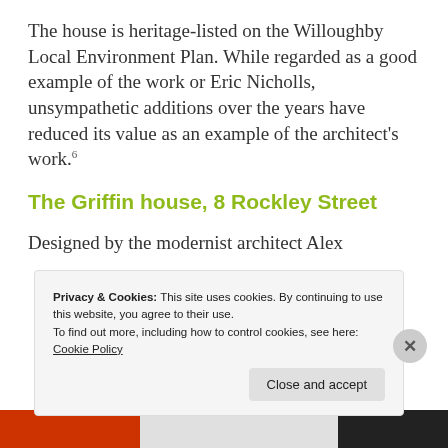The house is heritage-listed on the Willoughby Local Environment Plan. While regarded as a good example of the work or Eric Nicholls, unsympathetic additions over the years have reduced its value as an example of the architect's work.⁶
The Griffin house, 8 Rockley Street
Designed by the modernist architect Alex
Privacy & Cookies: This site uses cookies. By continuing to use this website, you agree to their use.
To find out more, including how to control cookies, see here: Cookie Policy